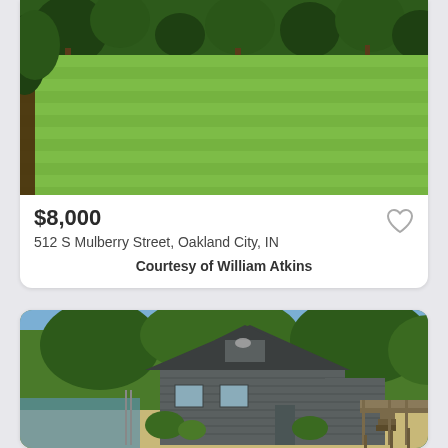[Figure (photo): Photo of a green mowed lawn with trees in the background - property listing photo]
$8,000
512 S Mulberry Street, Oakland City, IN
Courtesy of William Atkins
[Figure (photo): Photo of a gray wood-sided house with a deck and stairs, surrounded by trees, near water - property listing photo]